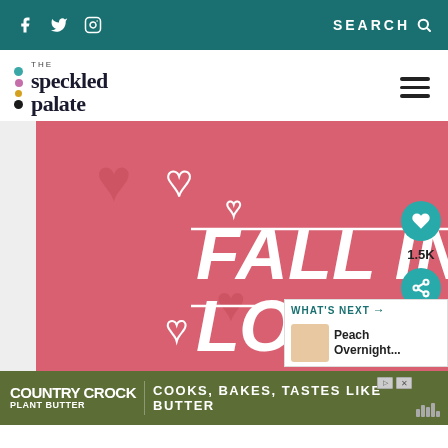f  𝕏  Instagram  SEARCH
[Figure (logo): The Speckled Palate logo with colorful dots and serif text]
[Figure (illustration): Fall In Love pet advertisement with cat and dog, hearts on pink background]
1.5K
WHAT'S NEXT → Peach Overnight...
[Figure (illustration): Country Crock Plant Butter banner ad: COOKS, BAKES, TASTES LIKE BUTTER]